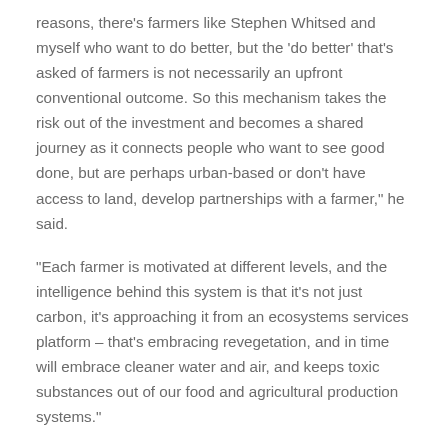reasons, there's farmers like Stephen Whitsed and myself who want to do better, but the 'do better' that's asked of farmers is not necessarily an upfront conventional outcome. So this mechanism takes the risk out of the investment and becomes a shared journey as it connects people who want to see good done, but are perhaps urban-based or don't have access to land, develop partnerships with a farmer," he said.
"Each farmer is motivated at different levels, and the intelligence behind this system is that it's not just carbon, it's approaching it from an ecosystems services platform – that's embracing revegetation, and in time will embrace cleaner water and air, and keeps toxic substances out of our food and agricultural production systems."
Iain Smale, of Pangolin Associates, feels the